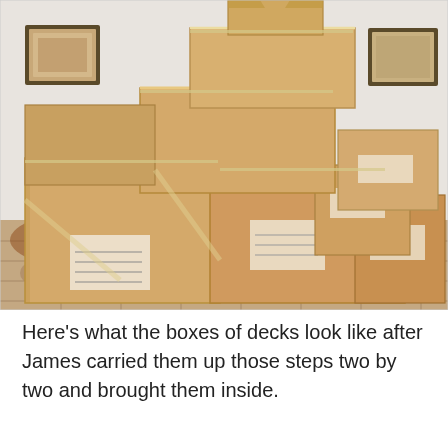[Figure (photo): A large pyramid-like stack of brown cardboard boxes arranged in a living room. The boxes are taped shut with clear tape and some have white labels. In the background is a sofa with decorative pillows, patterned rugs on the floor, and framed pictures/artwork on the white walls.]
Here's what the boxes of decks look like after James carried them up those steps two by two and brought them inside.